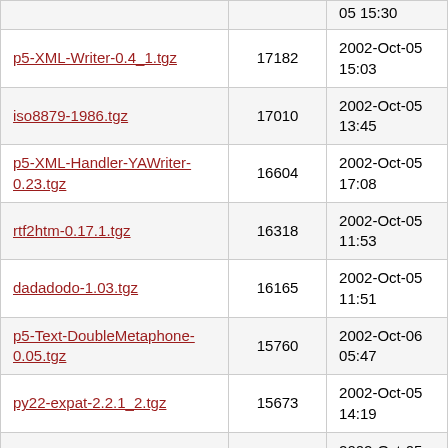| p5-XML-Writer-0.4_1.tgz | 17182 | 2002-Oct-05 15:03 |
| iso8879-1986.tgz | 17010 | 2002-Oct-05 13:45 |
| p5-XML-Handler-YAWriter-0.23.tgz | 16604 | 2002-Oct-05 17:08 |
| rtf2htm-0.17.1.tgz | 16318 | 2002-Oct-05 11:53 |
| dadadodo-1.03.tgz | 16165 | 2002-Oct-05 11:51 |
| p5-Text-DoubleMetaphone-0.05.tgz | 15760 | 2002-Oct-06 05:47 |
| py22-expat-2.2.1_2.tgz | 15673 | 2002-Oct-05 14:19 |
| p5-Text-Format-0.52.tgz | 15615 | 2002-Oct-05 11:52 |
| p5-FreeBSD-Ports-0.03.tgz | 15399 | 2002-Oct-05 11:51 |
| p5-XML-XUpdate-LibXML-0.2.3.tgz | 15285 | 2002-Oct-06 06:21 |
| htmlsection-1.0.tgz | 15167 | 2002-Oct- |